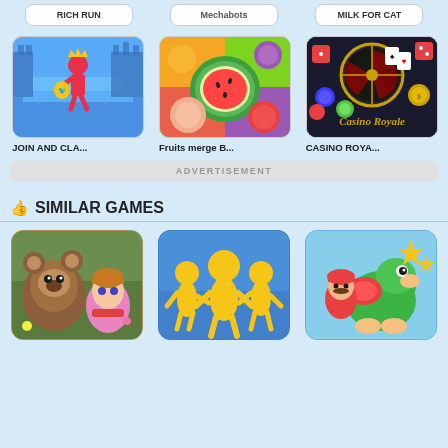RICH RUN | Mechabots | MILK FOR CAT
[Figure (screenshot): JOIN AND CLA... game thumbnail - red stick figure with crown running]
JOIN AND CLA...
[Figure (screenshot): Fruits merge B... game thumbnail - colorful fruits including watermelon]
Fruits merge B...
[Figure (screenshot): CASINO ROYA... game thumbnail - roulette wheel with casino chips]
CASINO ROYA...
ADVERTISEMENT
SIMILAR GAMES
[Figure (screenshot): Masha and the Bear puzzle game thumbnail]
[Figure (screenshot): Yellow stick figures holding hands on blue background]
[Figure (screenshot): Mario and Yoshi game thumbnail]